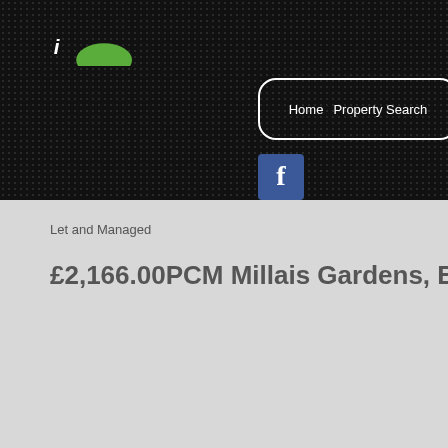[Figure (logo): Company logo with italic 'i' character and green hill/arc shape on dark background]
Home  Property Search
[Figure (logo): Facebook icon - blue square with white 'f' letter]
Let and Managed
£2,166.00PCM Millais Gardens, Edgware, HA8